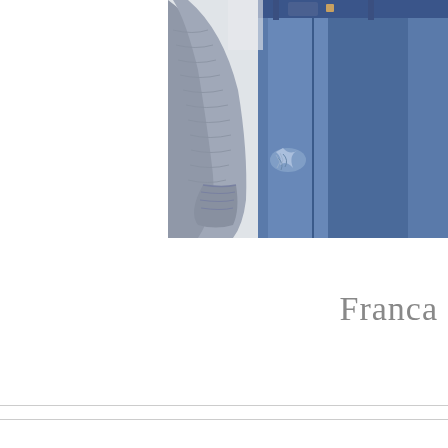[Figure (photo): Cropped photo showing a person wearing distressed blue denim jeans and a gray knit sweater with rolled cuffs, photographed from approximately waist to knee level against a light gray background.]
Franca
— —